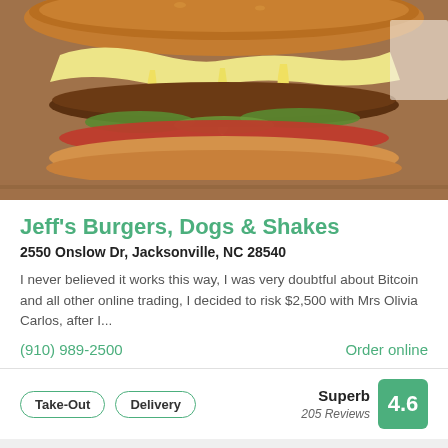[Figure (photo): Close-up photo of a cheeseburger with melted white cheese, pickles, tomato, and a toasted bun.]
Jeff's Burgers, Dogs & Shakes
2550 Onslow Dr, Jacksonville, NC 28540
I never believed it works this way, I was very doubtful about Bitcoin and all other online trading, I decided to risk $2,500 with Mrs Olivia Carlos, after I...
(910) 989-2500
Order online
Take-Out
Delivery
Superb 205 Reviews 4.6
[Figure (photo): Partial view of a colorful banner or advertisement strip at the bottom of the page.]